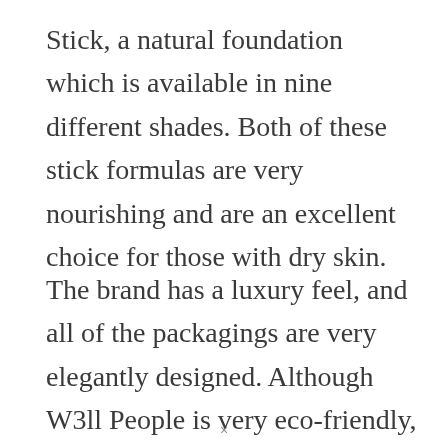Stick, a natural foundation which is available in nine different shades. Both of these stick formulas are very nourishing and are an excellent choice for those with dry skin.
The brand has a luxury feel, and all of the packagings are very elegantly designed. Although W3ll People is very eco-friendly, they also have a sleek, modern look that will